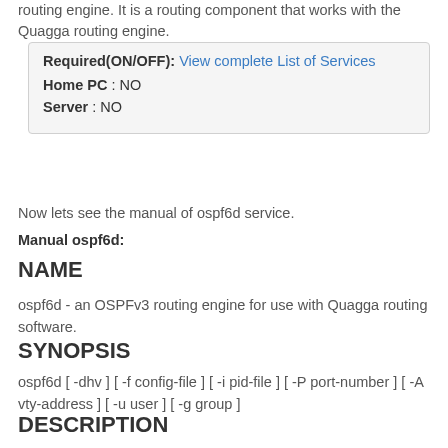routing engine. It is a routing component that works with the Quagga routing engine.
Required(ON/OFF): View complete List of Services
Home PC : NO
Server : NO
Now lets see the manual of ospf6d service.
Manual ospf6d:
NAME
ospf6d - an OSPFv3 routing engine for use with Quagga routing software.
SYNOPSIS
ospf6d [ -dhv ] [ -f config-file ] [ -i pid-file ] [ -P port-number ] [ -A vty-address ] [ -u user ] [ -g group ]
DESCRIPTION